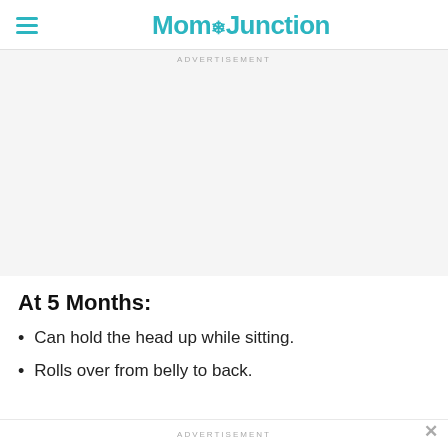MomJunction
ADVERTISEMENT
At 5 Months:
Can hold the head up while sitting.
Rolls over from belly to back.
ADVERTISEMENT